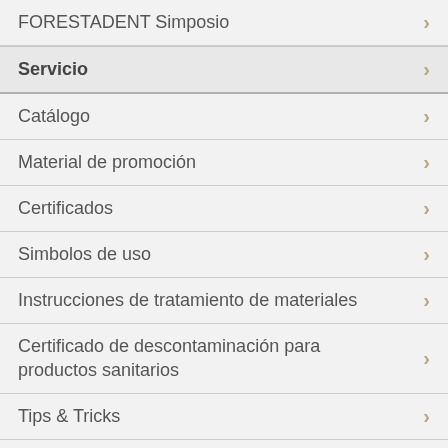FORESTADENT Simposio
Servicio
Catálogo
Material de promoción
Certificados
Simbolos de uso
Instrucciones de tratamiento de materiales
Certificado de descontaminación para productos sanitarios
Tips & Tricks